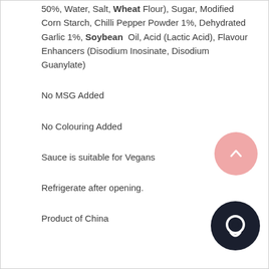50%, Water, Salt, Wheat Flour), Sugar, Modified Corn Starch, Chilli Pepper Powder 1%, Dehydrated Garlic 1%, Soybean Oil, Acid (Lactic Acid), Flavour Enhancers (Disodium Inosinate, Disodium Guanylate)
No MSG Added
No Colouring Added
Sauce is suitable for Vegans
Refrigerate after opening.
Product of China